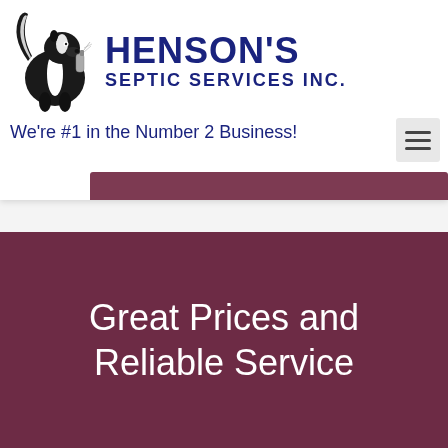[Figure (logo): Henson's Septic Services Inc. logo with a cartoon skunk illustration and bold dark blue text reading HENSON'S SEPTIC SERVICES INC.]
We're #1 in the Number 2 Business!
Great Prices and Reliable Service